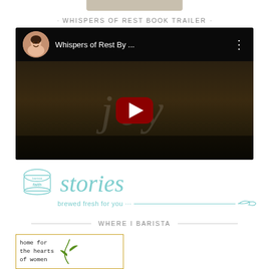WHISPERS OF REST BOOK TRAILER
[Figure (screenshot): YouTube video thumbnail showing 'Whispers of Rest By ...' with a circular avatar of a woman smiling, YouTube play button, and dark background with italic script text 'joy']
[Figure (logo): Faith & Barista stories logo with coffee cup illustration and text 'stories brewed fresh for you...' in teal with arrow decoration]
WHERE I BARISTA
[Figure (screenshot): Card with yellow/gold border showing monospace text 'home for the hearts of women' with green leaf illustration]